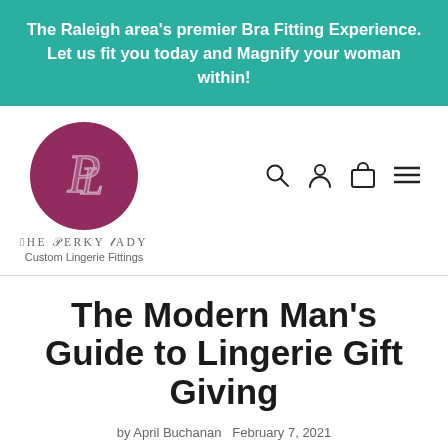The Raleigh area's premier Bra Fitting Experience. Let us fit you today and Magnify your woman within!
[Figure (logo): The Perky Lady logo: maroon circle with stylized P and L initials, text 'THE PERKY LADY Custom Lingerie Fittings' below]
The Modern Man's Guide to Lingerie Gift Giving
by April Buchanan   February 7, 2021